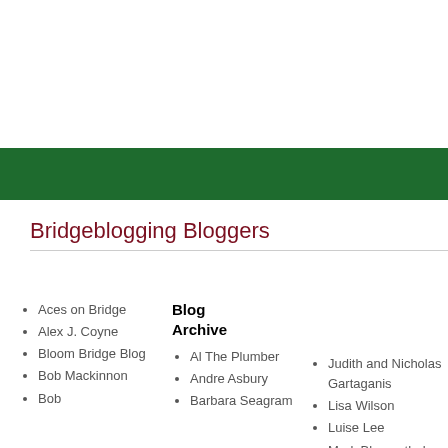[Figure (other): Green horizontal banner bar]
Bridgeblogging Bloggers
Aces on Bridge
Alex J. Coyne
Bloom Bridge Blog
Bob Mackinnon
Bob
Blog Archive
Al The Plumber
Andre Asbury
Barbara Seagram
Judith and Nicholas Gartaganis
Lisa Wilson
Luise Lee
Mark Blumenthal
Mark Horton